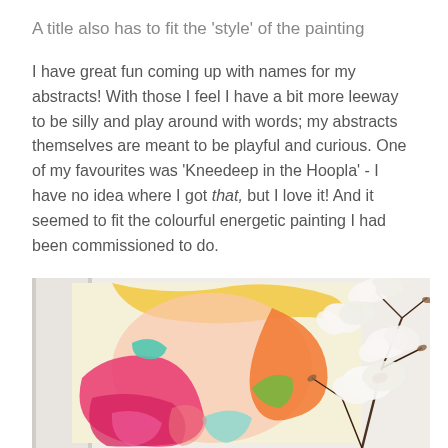A title also has to fit the 'style' of the painting
I have great fun coming up with names for my abstracts! With those I feel I have a bit more leeway to be silly and play around with words; my abstracts themselves are meant to be playful and curious. One of my favourites was 'Kneedeep in the Hoopla' - I have no idea where I got that, but I love it! And it seemed to fit the colourful energetic painting I had been commissioned to do.
[Figure (photo): A colourful abstract painting featuring bold strokes of pink, orange, green, teal, and yellow on a light background, displayed on a wall. To the right is a vase with white magnolia flowers and dark branches.]